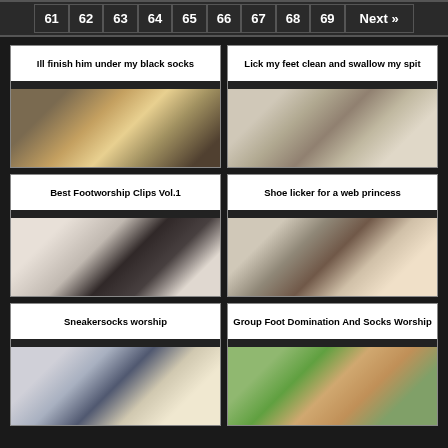61 62 63 64 65 66 67 68 69 Next »
[Figure (photo): Thumbnail: Ill finish him under my black socks]
[Figure (photo): Thumbnail: Lick my feet clean and swallow my spit]
[Figure (photo): Thumbnail: Best Footworship Clips Vol.1]
[Figure (photo): Thumbnail: Shoe licker for a web princess]
[Figure (photo): Thumbnail: Sneakersocks worship]
[Figure (photo): Thumbnail: Group Foot Domination And Socks Worship]